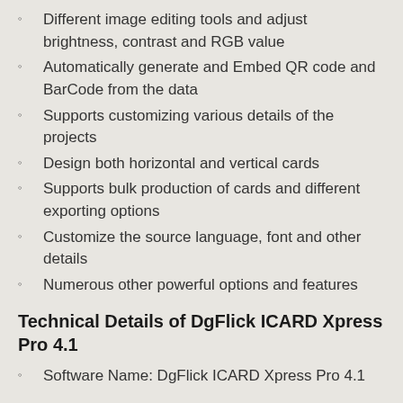Different image editing tools and adjust brightness, contrast and RGB value
Automatically generate and Embed QR code and BarCode from the data
Supports customizing various details of the projects
Design both horizontal and vertical cards
Supports bulk production of cards and different exporting options
Customize the source language, font and other details
Numerous other powerful options and features
Technical Details of DgFlick ICARD Xpress Pro 4.1
Software Name: DgFlick ICARD Xpress Pro 4.1